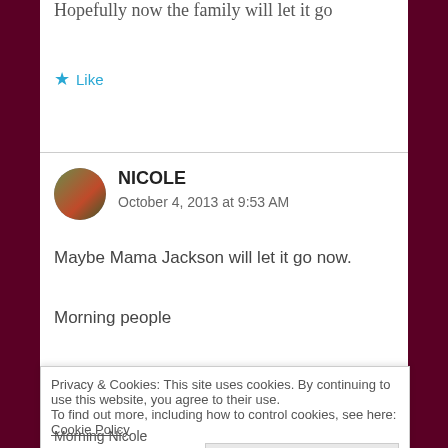Hopefully now the family will let it go
★ Like
NICOLE
October 4, 2013 at 9:53 AM
Maybe Mama Jackson will let it go now.
Morning people
★ Like
Privacy & Cookies: This site uses cookies. By continuing to use this website, you agree to their use.
To find out more, including how to control cookies, see here: Cookie Policy
Close and accept
Morning Nicole